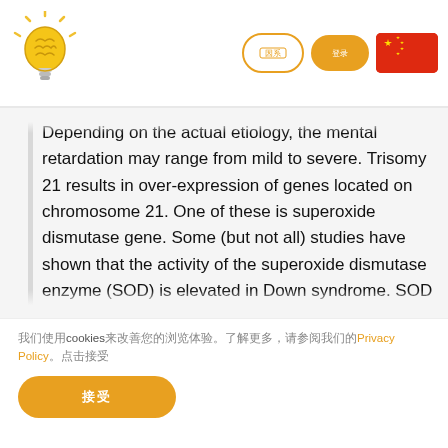[Logo: lightbulb/brain icon] [navigation buttons] [China flag]
Depending on the actual etiology, the mental retardation may range from mild to severe. Trisomy 21 results in over-expression of genes located on chromosome 21. One of these is superoxide dismutase gene. Some (but not all) studies have shown that the activity of the superoxide dismutase enzyme (SOD) is elevated in Down syndrome. SOD converts oxygen radicals to hydrogen peroxide and water. Oxygen radicals produced in cells can be damaging to cellular structures; hence the important role of SOD. However, the hypothesis says that once SOD activity increases disproportionately to enzymes responsible for removal of hydrogen peroxide (e.g. glutathione peroxidase), the cells will suffer from a peroxide damage. Some scientists believe that the
[cookie consent notice with Privacy Policy link and accept button]